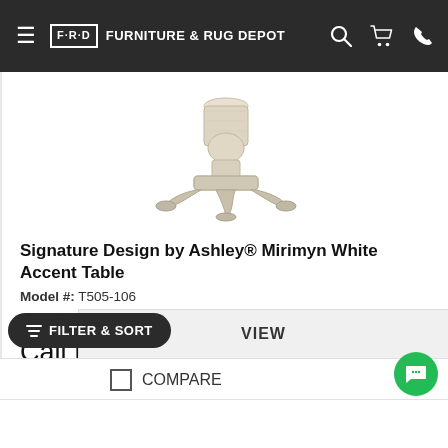FRD FURNITURE & RUG DEPOT
[Figure (photo): Whitewashed wooden accent table base with ornate curved legs, shown from below against a white background]
Signature Design by Ashley® Mirimyn White Accent Table
Model #: T505-106
4.5 ★★★★½ (313)
Call for Best Price
PRICING ONLY FOR ONLINE ORDER
VIEW
FILTER & SORT
COMPARE